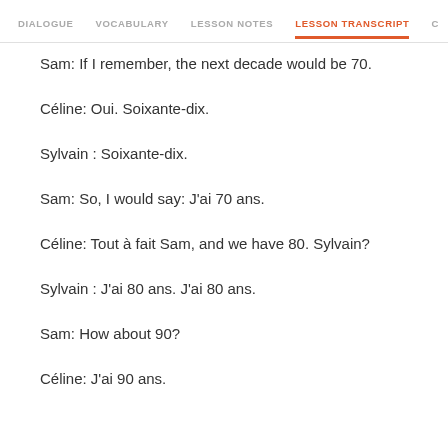DIALOGUE   VOCABULARY   LESSON NOTES   LESSON TRANSCRIPT   C
Sam: If I remember, the next decade would be 70.
Céline: Oui. Soixante-dix.
Sylvain : Soixante-dix.
Sam: So, I would say: J'ai 70 ans.
Céline: Tout à fait Sam, and we have 80. Sylvain?
Sylvain : J'ai 80 ans. J'ai 80 ans.
Sam: How about 90?
Céline: J'ai 90 ans.